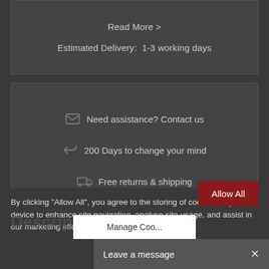Read More >
Estimated Delivery:  1-3 working days
Need assistance? Contact us
200 Days to change your mind
Free returns & shipping
By clicking "Allow All", you agree to the storing of cookies on your device to enhance site navigation, analyse site usage, and assist in our marketing efforts. Find out more.
Allow All
Manage Coo...
Leave a message
Description